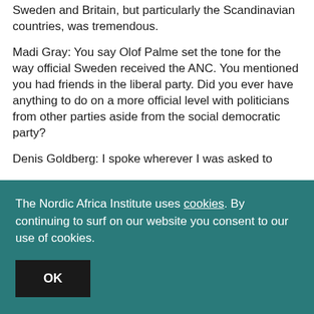Sweden and Britain, but particularly the Scandinavian countries, was tremendous.
Madi Gray: You say Olof Palme set the tone for the way official Sweden received the ANC. You mentioned you had friends in the liberal party. Did you ever have anything to do on a more official level with politicians from other parties aside from the social democratic party?
Denis Goldberg: I spoke wherever I was asked to
The Nordic Africa Institute uses cookies. By continuing to surf on our website you consent to our use of cookies.